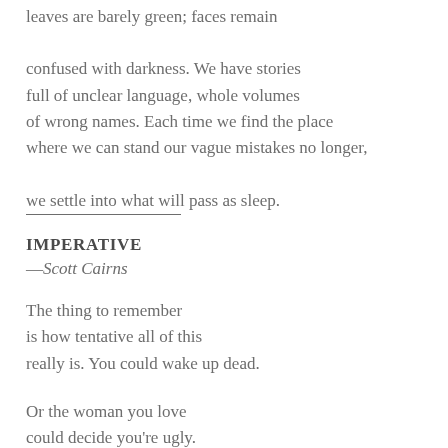leaves are barely green; faces remain

confused with darkness. We have stories
full of unclear language, whole volumes
of wrong names. Each time we find the place
where we can stand our vague mistakes no longer,

we settle into what will pass as sleep.
IMPERATIVE
—Scott Cairns
The thing to remember
is how tentative all of this
really is. You could wake up dead.

Or the woman you love
could decide you're ugly.
Maybe she'll finally give up
trying to ignore the way you
floss your teeth a her...